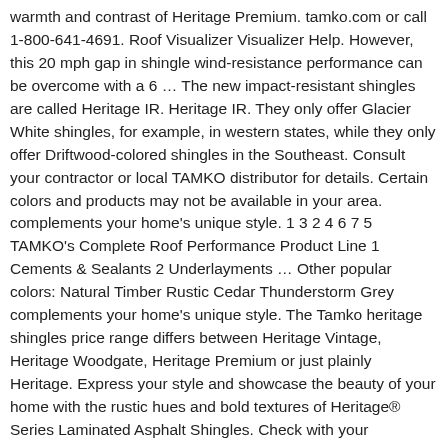warmth and contrast of Heritage Premium. tamko.com or call 1-800-641-4691. Roof Visualizer Visualizer Help. However, this 20 mph gap in shingle wind-resistance performance can be overcome with a 6 … The new impact-resistant shingles are called Heritage IR. Heritage IR. They only offer Glacier White shingles, for example, in western states, while they only offer Driftwood-colored shingles in the Southeast. Consult your contractor or local TAMKO distributor for details. Certain colors and products may not be available in your area. complements your home's unique style. 1 3 2 4 6 7 5 TAMKO's Complete Roof Performance Product Line 1 Cements & Sealants 2 Underlayments … Other popular colors: Natural Timber Rustic Cedar Thunderstorm Grey complements your home's unique style. The Tamko heritage shingles price range differs between Heritage Vintage, Heritage Woodgate, Heritage Premium or just plainly Heritage. Express your style and showcase the beauty of your home with the rustic hues and bold textures of Heritage® Series Laminated Asphalt Shingles. Check with your